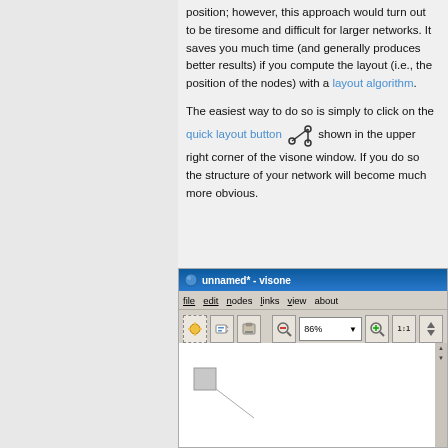position; however, this approach would turn out to be tiresome and difficult for larger networks. It saves you much time (and generally produces better results) if you compute the layout (i.e., the position of the nodes) with a layout algorithm.
The easiest way to do so is simply to click on the quick layout button [icon] shown in the upper right corner of the visone window. If you do so the structure of your network will become much more obvious.
[Figure (screenshot): Screenshot of the visone application window showing the title bar 'unnamed* - visone', menu bar with file, edit, nodes, links, view, about, a toolbar with buttons at 86% zoom, and a blank canvas area with a network node visible.]